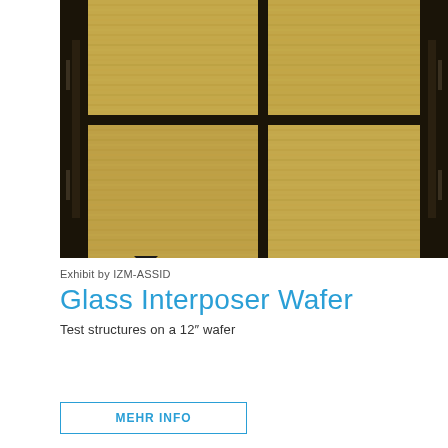[Figure (photo): Close-up photograph of a glass interposer wafer showing gold/tan colored rectangular die segments separated by dark grid lines, with dark side structures visible on left and right edges. A small triangular notch is visible at the bottom center of the image.]
Exhibit by IZM-ASSID
Glass Interposer Wafer
Test structures on a 12" wafer
MEHR INFO